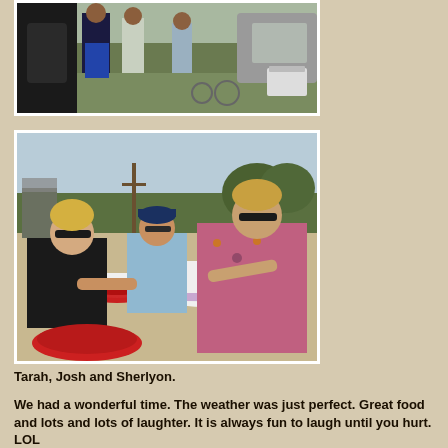[Figure (photo): Outdoor photo of people standing near a vehicle on grass, taken in a field setting.]
[Figure (photo): Photo of three people (Tarah, Josh and Sherlyon) sitting at an outdoor table eating crawfish/food with trees and field in background.]
Tarah, Josh and Sherlyon.
We had a wonderful time.  The weather was just perfect.  Great food and lots and lots of laughter.   It is always fun to laugh until you hurt. LOL